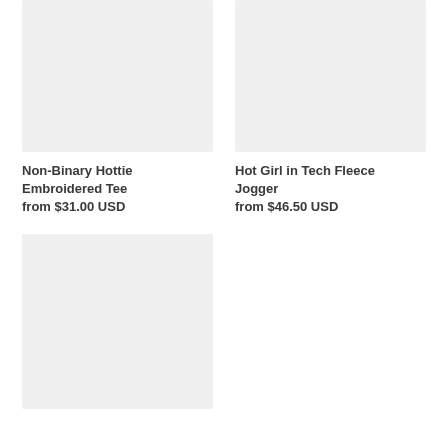[Figure (photo): Product image placeholder for Non-Binary Hottie Embroidered Tee, light gray background]
[Figure (photo): Product image placeholder for Hot Girl in Tech Fleece Jogger, light gray background]
Non-Binary Hottie Embroidered Tee
from $31.00 USD
Hot Girl in Tech Fleece Jogger
from $46.50 USD
[Figure (photo): Product image placeholder, light gray background, bottom left]
[Figure (photo): Product image placeholder, light gray background, bottom right (empty/partial)]